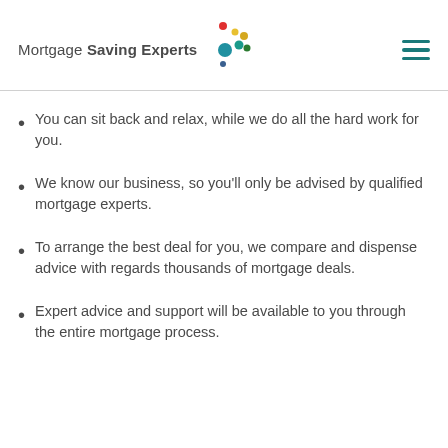[Figure (logo): Mortgage Saving Experts logo with colorful dots and hamburger menu icon]
You can sit back and relax, while we do all the hard work for you.
We know our business, so you'll only be advised by qualified mortgage experts.
To arrange the best deal for you, we compare and dispense advice with regards thousands of mortgage deals.
Expert advice and support will be available to you through the entire mortgage process.